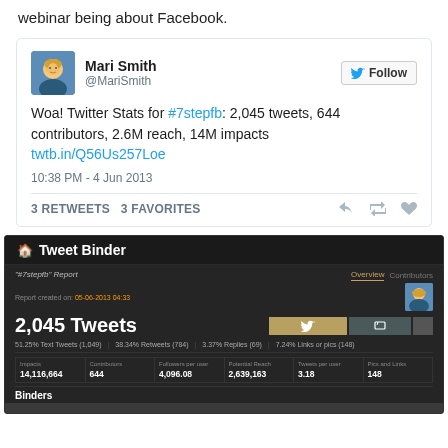webinar being about Facebook.
[Figure (screenshot): Embedded tweet from @MariSmith: 'Woa! Twitter Stats for #7stepfb: 2,045 tweets, 644 contributors, 2.6M reach, 14M impacts twtb.in/Q56Us257Loe' — 10:38 PM - 4 Jun 2013, 3 RETWEETS 3 FAVORITES]
[Figure (screenshot): Tweet Binder dashboard screenshot showing '#7stepfb' Report with 2,045 Tweets, stats: 01.25% Text Tweets (1,049), 38.34% Retweets (784), 3.37% Replies (69), 7.24% Links or pics (148). Metrics: Impacts 14,116,664 | Contributors 644 | Followers per user 4,096.08 | Potential Reach 2,639,163 | Tweets per user 3.18 | Pics and Links 148. Binders section visible at bottom.]